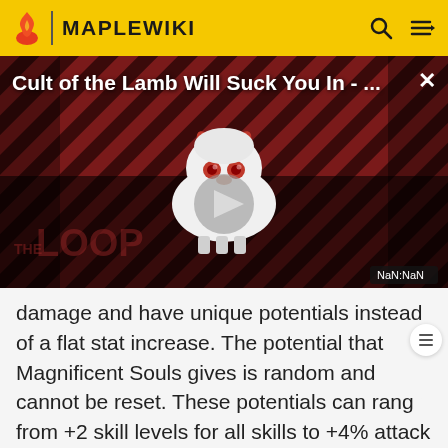MAPLEWIKI
[Figure (screenshot): Video thumbnail for 'Cult of the Lamb Will Suck You In - ...' with a stylized lamb character mascot in the center, diagonal stripe background in dark red and black, play button overlay, 'THE LOOP' watermark, and NaN:NaN time badge]
damage and have unique potentials instead of a flat stat increase. The potential that Magnificent Souls gives is random and cannot be reset. These potentials can range from +2 skill levels for all skills to +4% attack or magic attack.